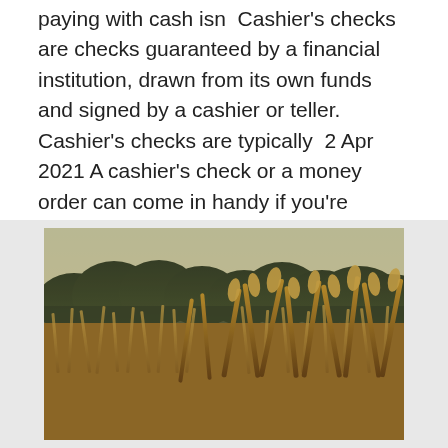paying with cash isn  Cashier's checks are checks guaranteed by a financial institution, drawn from its own funds and signed by a cashier or teller. Cashier's checks are typically  2 Apr 2021 A cashier's check or a money order can come in handy if you're paying bills or making a large deposit on a purchase.
[Figure (photo): Photograph of tall golden wheat or grass stalks in the foreground with dark green trees and a pale sky in the background, styled with a warm vintage tone.]